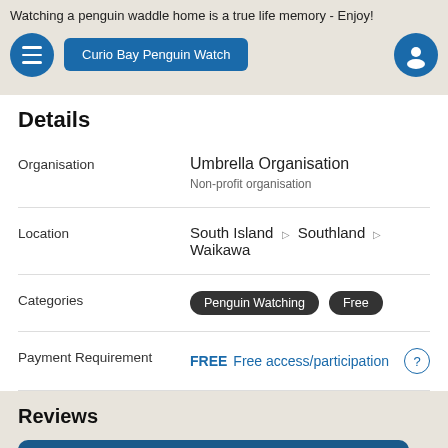Watching a penguin waddle home is a true life memory - Enjoy!
Curio Bay Penguin Watch
Details
Organisation: Umbrella Organisation
Non-profit organisation
Location: South Island ▷ Southland ▷ Waikawa
Categories: Penguin Watching  Free
Payment Requirement: FREE  Free access/participation
Reviews
64 Rankers Reviews    Analysis